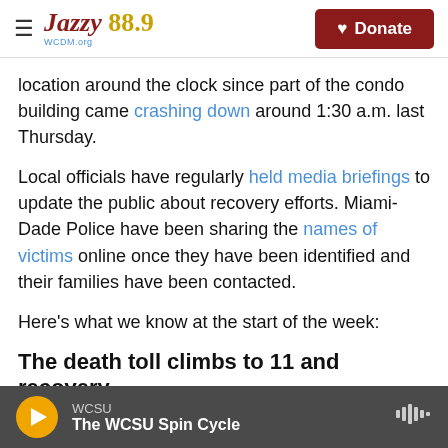Jazzy 88.9 WCSU — Donate button
location around the clock since part of the condo building came crashing down around 1:30 a.m. last Thursday.
Local officials have regularly held media briefings to update the public about recovery efforts. Miami-Dade Police have been sharing the names of victims online once they have been identified and their families have been contacted.
Here's what we know at the start of the week:
The death toll climbs to 11 and recovery
WCSU — The WCSU Spin Cycle